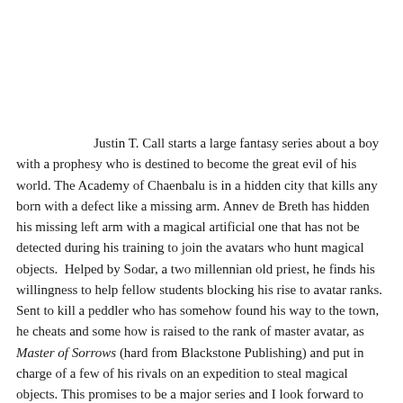Justin T. Call starts a large fantasy series about a boy with a prophesy who is destined to become the great evil of his world. The Academy of Chaenbalu is in a hidden city that kills any born with a defect like a missing arm. Annev de Breth has hidden his missing left arm with a magical artificial one that has not be detected during his training to join the avatars who hunt magical objects.  Helped by Sodar, a two millennian old priest, he finds his willingness to help fellow students blocking his rise to avatar ranks. Sent to kill a peddler who has somehow found his way to the town, he cheats and some how is raised to the rank of master avatar, as Master of Sorrows (hard from Blackstone Publishing) and put in charge of a few of his rivals on an expedition to steal magical objects. This promises to be a major series and I look forward to future episodes.